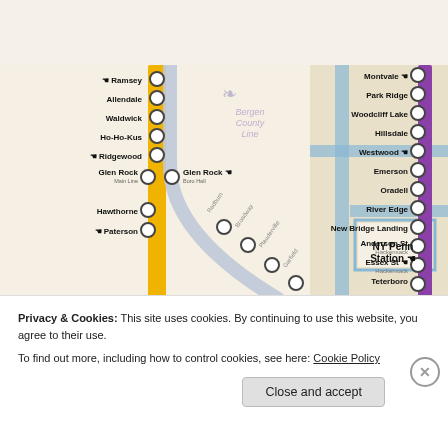[Figure (map): NJ Transit rail map segment showing Bergen County Line (yellow), Main Line (gray), and Pascack Valley Line (purple). Shows stations: Ramsey, Allendale, Waldwick, Ho-Ho-Kus, Ridgewood, Glen Rock Main Line, Glen Rock Boro Hall, Hawthorne, Paterson on left side; Montvale, Park Ridge, Woodcliff Lake, Hillsdale, Westwood, Emerson, Oradell, River Edge, New Bridge Landing, Anderson St (Hackensack), Essex St (Hackensack), Teterboro on right side. NY Penn Station shown at far right with blue roads/connections.]
Privacy & Cookies: This site uses cookies. By continuing to use this website, you agree to their use.
To find out more, including how to control cookies, see here: Cookie Policy